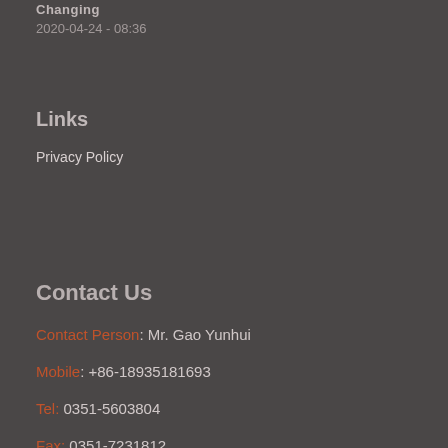Changing
2020-04-24 - 08:36
Links
Privacy Policy
Contact Us
Contact Person: Mr. Gao Yunhui
Mobile: +86-18935181693
Tel: 0351-5603804
Fax: 0351-7231812